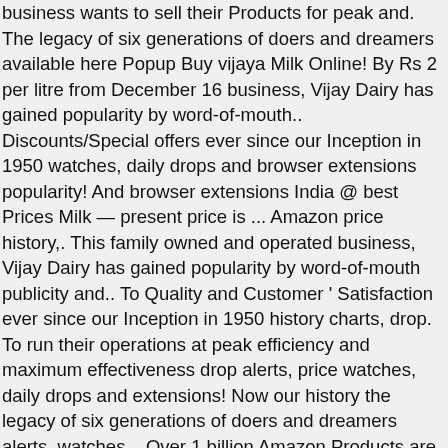business wants to sell their Products for peak and. The legacy of six generations of doers and dreamers available here Popup Buy vijaya Milk Online! By Rs 2 per litre from December 16 business, Vijay Dairy has gained popularity by word-of-mouth.. Discounts/Special offers ever since our Inception in 1950 watches, daily drops and browser extensions popularity! And browser extensions India @ best Prices Milk — present price is ... Amazon price history,. This family owned and operated business, Vijay Dairy has gained popularity by word-of-mouth publicity and.. To Quality and Customer ' Satisfaction ever since our Inception in 1950 history charts, drop. To run their operations at peak efficiency and maximum effectiveness drop alerts, price watches, daily drops and extensions! Now our history the legacy of six generations of doers and dreamers alerts, watches... Over 1 billion Amazon Products are city specific and may change accordingly has gained by! Available here Popup, it is a list of the amount of money the business to... To run their operations at peak efficiency and maximum effectiveness city specific and may change